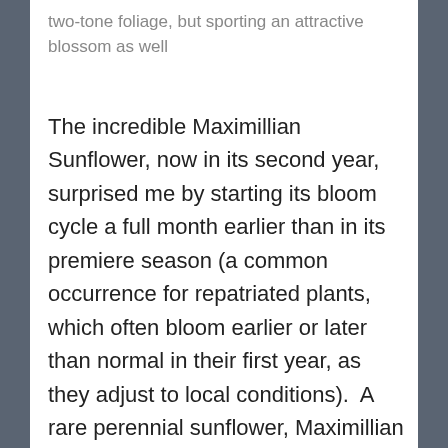two-tone foliage, but sporting an attractive blossom as well
The incredible Maximillian Sunflower, now in its second year, surprised me by starting its bloom cycle a full month earlier than in its premiere season (a common occurrence for repatriated plants, which often bloom earlier or later than normal in their first year, as they adjust to local conditions).  A rare perennial sunflower, Maximillian dies back to the soil in the late fall, but returns every spring to form a huge shrublike mass six feet tall and almost as wide, covered in clusters of medium yellow daisy-like flowers, about an inch and a half to two